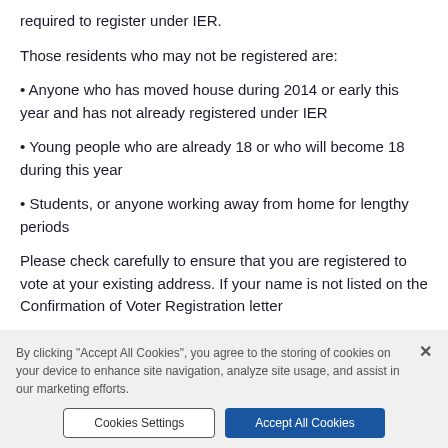required to register under IER.
Those residents who may not be registered are:
• Anyone who has moved house during 2014 or early this year and has not already registered under IER
• Young people who are already 18 or who will become 18 during this year
• Students, or anyone working away from home for lengthy periods
Please check carefully to ensure that you are registered to vote at your existing address. If your name is not listed on the Confirmation of Voter Registration letter
By clicking "Accept All Cookies", you agree to the storing of cookies on your device to enhance site navigation, analyze site usage, and assist in our marketing efforts.